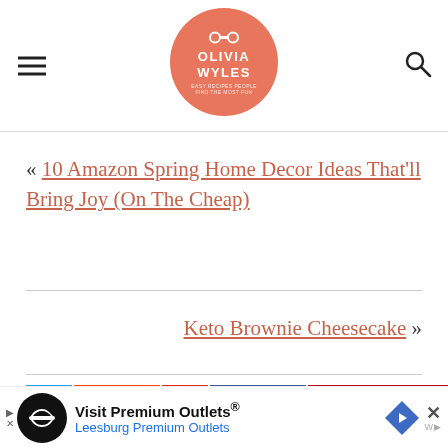Olivia Wyles
« 10 Amazon Spring Home Decor Ideas That'll Bring Joy (On The Cheap)
Keto Brownie Cheesecake »
[Figure (other): Social sharing buttons: Twitter, Reddit (30), Yummly, Facebook (877), Pinterest (468316)]
[Figure (other): Ad banner: Visit Premium Outlets® Leesburg Premium Outlets]